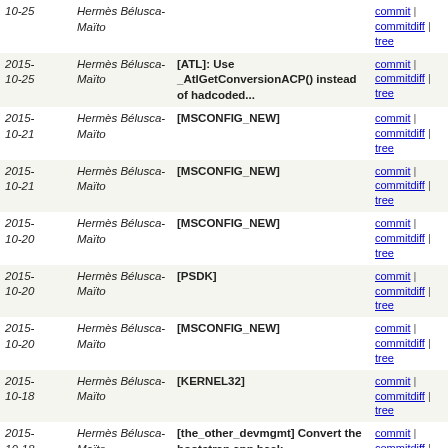| Date | Author | Message | Links |
| --- | --- | --- | --- |
| 2015-10-25 | Hermès Bélusca-Maïto |  | commit | commitdiff | tree |
| 2015-10-25 | Hermès Bélusca-Maïto | [ATL]: Use _AtlGetConversionACP() instead of hadcoded... | commit | commitdiff | tree |
| 2015-10-21 | Hermès Bélusca-Maïto | [MSCONFIG_NEW] | commit | commitdiff | tree |
| 2015-10-21 | Hermès Bélusca-Maïto | [MSCONFIG_NEW] | commit | commitdiff | tree |
| 2015-10-20 | Hermès Bélusca-Maïto | [MSCONFIG_NEW] | commit | commitdiff | tree |
| 2015-10-20 | Hermès Bélusca-Maïto | [PSDK] | commit | commitdiff | tree |
| 2015-10-20 | Hermès Bélusca-Maïto | [MSCONFIG_NEW] | commit | commitdiff | tree |
| 2015-10-18 | Hermès Bélusca-Maïto | [KERNEL32] | commit | commitdiff | tree |
| 2015-10-18 | Hermès Bélusca-Maïto | [the_other_devmgmt] Convert the bootstrap app back... | commit | commitdiff | tree |
| 2015-10-18 | Hermès Bélusca-Maïto | (devmgmt) whitespace fix only. | commit | commitdiff | tree |